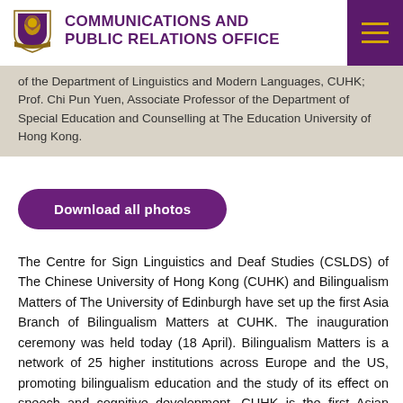COMMUNICATIONS AND PUBLIC RELATIONS OFFICE
of the Department of Linguistics and Modern Languages, CUHK; Prof. Chi Pun Yuen, Associate Professor of the Department of Special Education and Counselling at The Education University of Hong Kong.
Download all photos
The Centre for Sign Linguistics and Deaf Studies (CSLDS) of The Chinese University of Hong Kong (CUHK) and Bilingualism Matters of The University of Edinburgh have set up the first Asia Branch of Bilingualism Matters at CUHK. The inauguration ceremony was held today (18 April). Bilingualism Matters is a network of 25 higher institutions across Europe and the US, promoting bilingualism education and the study of its effect on speech and cognitive development. CUHK is the first Asian member and CSLDS will become the core team to lead the study and promotion of bimodal bilingual education and research.